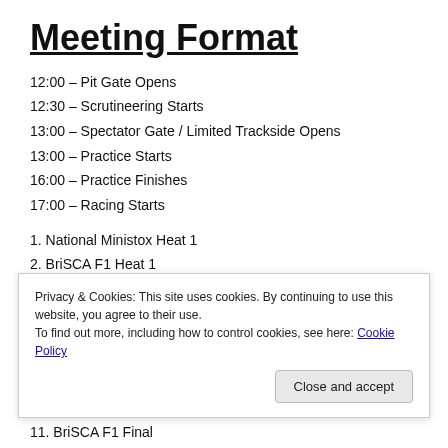Meeting Format
12:00 – Pit Gate Opens
12:30 – Scrutineering Starts
13:00 – Spectator Gate / Limited Trackside Opens
13:00 – Practice Starts
16:00 – Practice Finishes
17:00 – Racing Starts
1. National Ministox Heat 1
2. BriSCA F1 Heat 1
3. Micro F2s Race 1
4. National Ministox Heat 2
5. BriSCA F1 Heat 2
Privacy & Cookies: This site uses cookies. By continuing to use this website, you agree to their use. To find out more, including how to control cookies, see here: Cookie Policy
11. BriSCA F1 Final